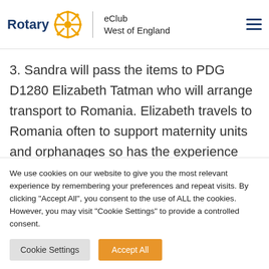Rotary eClub West of England
you will be giving clothes pending collection.
3. Sandra will pass the items to PDG D1280 Elizabeth Tatman who will arrange transport to Romania. Elizabeth travels to Romania often to support maternity units and orphanages so has the experience and contacts to ensure good use of your
We use cookies on our website to give you the most relevant experience by remembering your preferences and repeat visits. By clicking "Accept All", you consent to the use of ALL the cookies. However, you may visit "Cookie Settings" to provide a controlled consent.